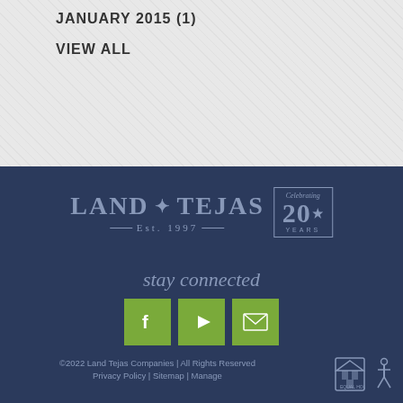JANUARY 2015 (1)
VIEW ALL
[Figure (logo): Land Tejas Est. 1997 logo with Celebrating 20 Years badge]
stay connected
[Figure (infographic): Social media icons: Facebook, YouTube, Email (green square buttons)]
©2022 Land Tejas Companies | All Rights Reserved Privacy Policy | Sitemap | Manage